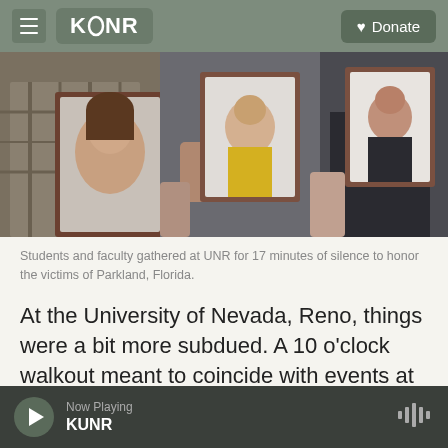KUNR | Donate
[Figure (photo): People holding framed portrait photographs at a memorial gathering]
Students and faculty gathered at UNR for 17 minutes of silence to honor the victims of Parkland, Florida.
At the University of Nevada, Reno, things were a bit more subdued. A 10 o'clock walkout meant to coincide with events at local high schools drew about two dozen students.
Now Playing KUNR